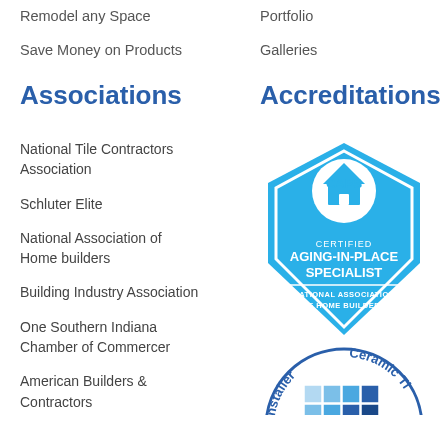Remodel any Space
Portfolio
Save Money on Products
Galleries
Associations
Accreditations
National Tile Contractors Association
[Figure (logo): CAPS - Certified Aging-In-Place Specialist badge from National Association of Home Builders]
Schluter Elite
National Association of Home builders
Building Industry Association
One Southern Indiana Chamber of Commercer
American Builders & Contractors
[Figure (logo): Installer Ceramic Tile badge/logo (partially visible at bottom)]